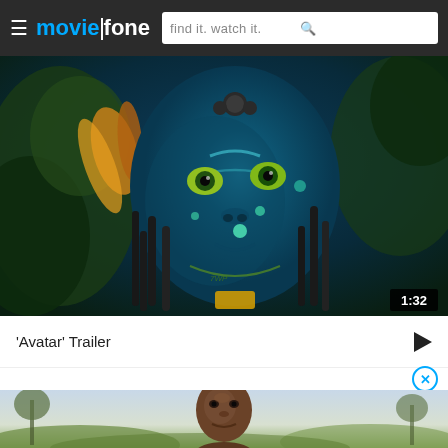moviefone — find it. watch it.
[Figure (screenshot): Avatar movie trailer thumbnail showing a blue Na'vi character with yellow-green eyes, braided hair, and face markings, in a jungle setting. Duration badge shows 1:32.]
'Avatar' Trailer
[Figure (screenshot): Bottom advertisement strip showing a man's face against an outdoor savanna background.]